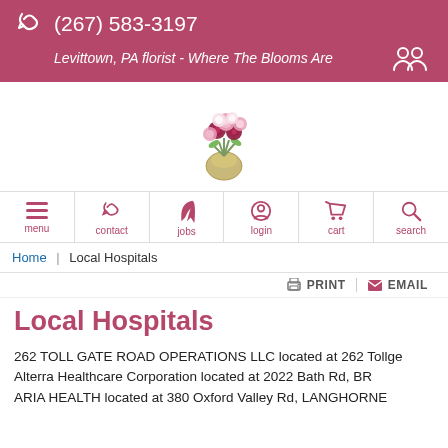(267) 583-3197
Levittown, PA florist - Where The Blooms Are
[Figure (logo): Floral bouquet logo with pink and dark red roses in a golden vase]
menu
contact
jobs
login
cart
search
Home / Local Hospitals
PRINT   EMAIL
Local Hospitals
262 TOLL GATE ROAD OPERATIONS LLC located at 262 Tollge...
Alterra Healthcare Corporation located at 2022 Bath Rd, BR...
ARIA HEALTH located at 380 Oxford Valley Rd, LANGHORNE...